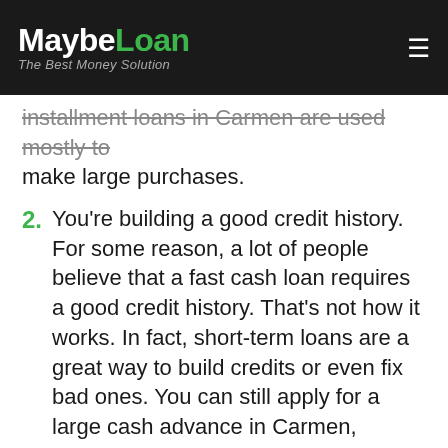MaybeLoan — The Best Money Solution
installment loans in Carmen are used mostly to make large purchases.
2. You're building a good credit history. For some reason, a lot of people believe that a fast cash loan requires a good credit history. That's not how it works. In fact, short-term loans are a great way to build credits or even fix bad ones. You can still apply for a large cash advance in Carmen, Oklahoma (OK) even if your credit history has seen better days. The thing is that when you make a payment on time, your credit score improves. That's why an installment loan can actually be a good thing for you if you have a bad credit history. Once you improve your credit score, you will be eligible for much better and bigger